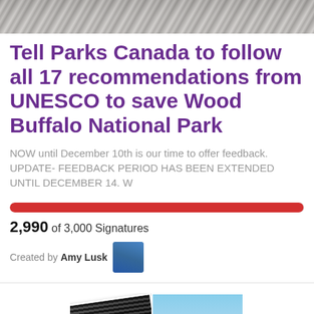[Figure (photo): Top portion of a nature/wildlife photo, partially cropped]
Tell Parks Canada to follow all 17 recommendations from UNESCO to save Wood Buffalo National Park
NOW until December 10th is our time to offer feedback. UPDATE- FEEDBACK PERIOD HAS BEEN EXTENDED UNTIL DECEMBER 14. W
[Figure (infographic): Red progress bar showing 2,990 of 3,000 signatures]
2,990 of 3,000 Signatures
Created by Amy Lusk
[Figure (photo): Bottom collage showing stacked documents on left and yellow canola field on right]